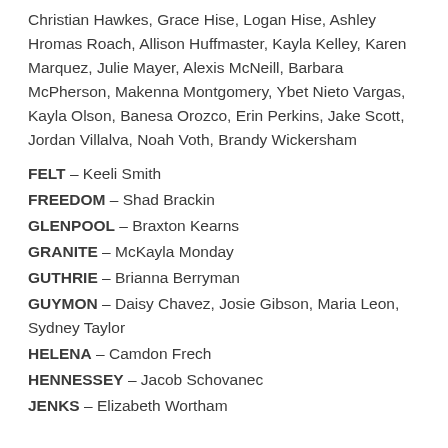Christian Hawkes, Grace Hise, Logan Hise, Ashley Hromas Roach, Allison Huffmaster, Kayla Kelley, Karen Marquez, Julie Mayer, Alexis McNeill, Barbara McPherson, Makenna Montgomery, Ybet Nieto Vargas, Kayla Olson, Banesa Orozco, Erin Perkins, Jake Scott, Jordan Villalva, Noah Voth, Brandy Wickersham
FELT – Keeli Smith
FREEDOM – Shad Brackin
GLENPOOL – Braxton Kearns
GRANITE – McKayla Monday
GUTHRIE – Brianna Berryman
GUYMON – Daisy Chavez, Josie Gibson, Maria Leon, Sydney Taylor
HELENA – Camdon Frech
HENNESSEY – Jacob Schovanec
JENKS – Elizabeth Wortham